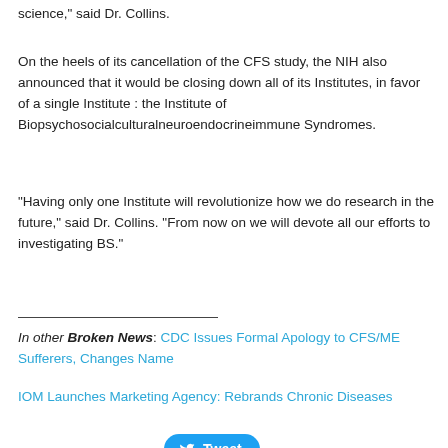science," said Dr. Collins.
On the heels of its cancellation of the CFS study, the NIH also announced that it would be closing down all of its Institutes, in favor of a single Institute : the Institute of Biopsychosocialculturalneuroendocrineimmune Syndromes.
"Having only one Institute will revolutionize how we do research in the future," said Dr. Collins. "From now on we will devote all our efforts to investigating BS."
In other Broken News: CDC Issues Formal Apology to CFS/ME Sufferers, Changes Name
IOM Launches Marketing Agency: Rebrands Chronic Diseases